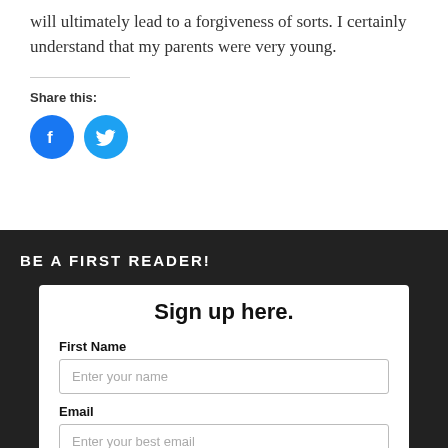will ultimately lead to a forgiveness of sorts. I certainly understand that my parents were very young.
Share this:
[Figure (illustration): Facebook and Twitter social share icon buttons — blue circular icons with Facebook 'f' logo and Twitter bird logo]
BE A FIRST READER!
Sign up here.
First Name
Enter your name
Email
Enter your best email